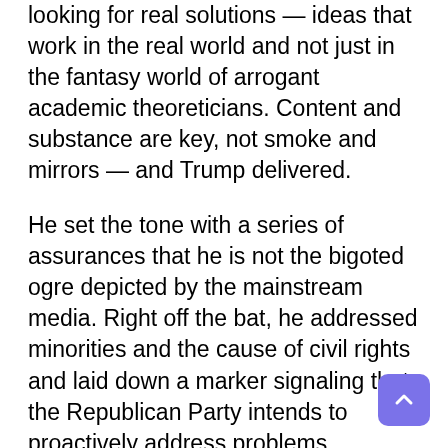looking for real solutions — ideas that work in the real world and not just in the fantasy world of arrogant academic theoreticians. Content and substance are key, not smoke and mirrors — and Trump delivered.

He set the tone with a series of assurances that he is not the bigoted ogre depicted by the mainstream media. Right off the bat, he addressed minorities and the cause of civil rights and laid down a marker signaling that the Republican Party intends to proactively address problems particularly affecting minority communities in the inner cities. He pointedly decried the recent incidents of vandalism against Jewish centers and denounced “hate and evil, in all of its very ugly forms,” and then he segued into expressing a firm commitment — “deeply delivered from (his) heart” — to unify and improve the lives of all Americans through vigorous renewal of the American spirit.